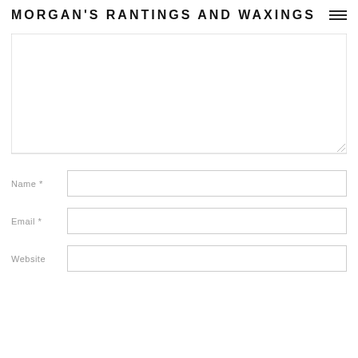MORGAN'S RANTINGS AND WAXINGS
[Figure (other): Comment textarea form field — empty white rectangle with resize handle]
Name *
Email *
Website